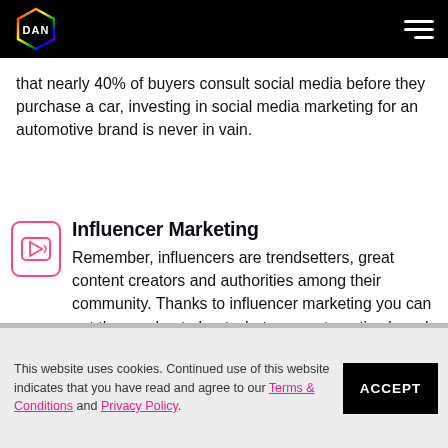DAN
that nearly 40% of buyers consult social media before they purchase a car, investing in social media marketing for an automotive brand is never in vain.
Influencer Marketing
Remember, influencers are trendsetters, great content creators and authorities among their community. Thanks to influencer marketing you can get the word out about what your automotive brand is offering and can reach
This website uses cookies. Continued use of this website indicates that you have read and agree to our Terms & Conditions and Privacy Policy.